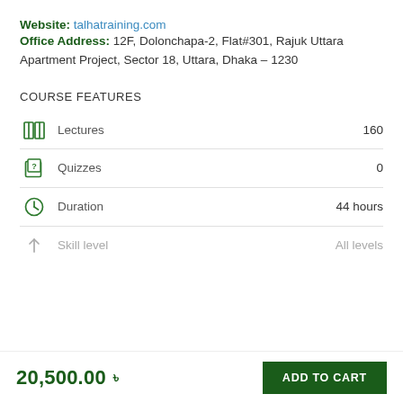Website: talhatraining.com
Office Address: 12F, Dolonchapa-2, Flat#301, Rajuk Uttara Apartment Project, Sector 18, Uttara, Dhaka – 1230
COURSE FEATURES
Lectures  160
Quizzes  0
Duration  44 hours
Skill level  All levels
20,500.00 ৳  ADD TO CART